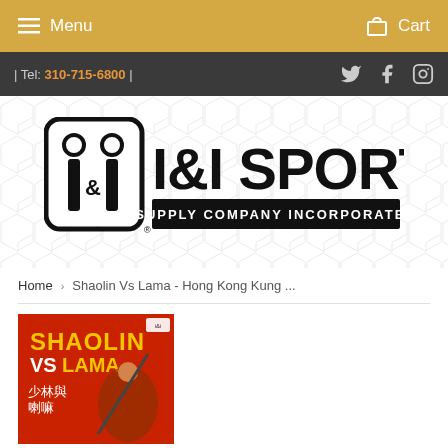Menu | Cart
| Tel: 310-715-6800 |
[Figure (logo): I&I Sports Supply Company Incorporated logo — black and white logo with stylized 'I&I' characters in a rounded rectangle and bold 'I&I SPORTS' text with 'SUPPLY COMPANY INCORPORATED' on a black banner underneath]
Home › Shaolin Vs Lama - Hong Kong Kung ...
[Figure (photo): DVD cover for 'Shaolin Vs Lama' - red background showing martial arts fight scene with golden and white Chinese characters, English text 'SHAOLIN VS LAMA' in yellow]